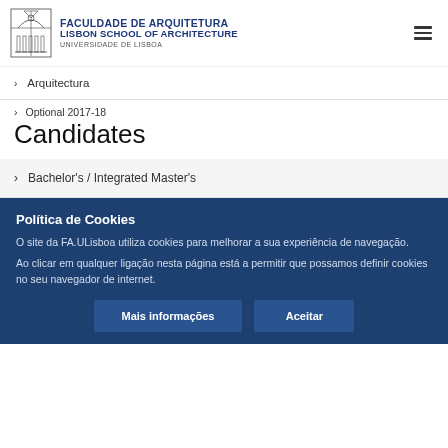[Figure (logo): Faculdade de Arquitetura Lisbon School of Architecture Universidade de Lisboa logo with architectural line drawing]
Arquitectura
Optional 2017-18
Candidates
Bachelor's / Integrated Master's
Política de Cookies
O site da FA.ULisboa utiliza cookies para melhorar a sua experiência de navegação.
Ao clicar em qualquer ligação nesta página está a permitir que possamos definir cookies no seu navegador de internet.
Mais informações    Aceitar